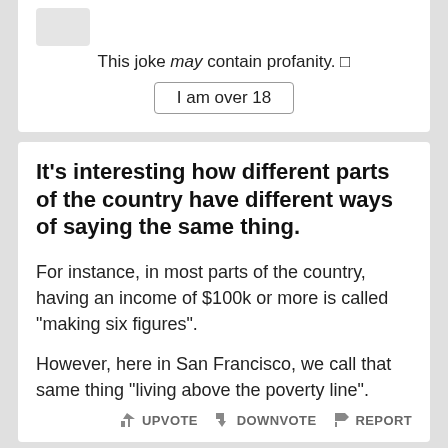This joke may contain profanity. □
I am over 18
It's interesting how different parts of the country have different ways of saying the same thing.
For instance, in most parts of the country, having an income of $100k or more is called "making six figures".
However, here in San Francisco, we call that same thing "living above the poverty line".
UPVOTE   DOWNVOTE   REPORT
In life, sometimes it's not good to be very specific.
For instance, it's okay to say "I love kids" but it's frowned upon to say "I love 12 year olds".